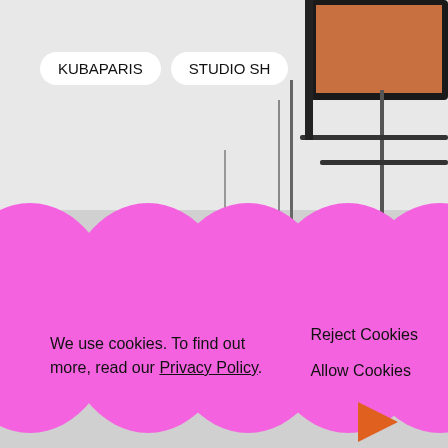[Figure (photo): Gallery interior with white polished floor and art installations including monitors/screens on metal stands]
KUBAPARIS   STUDIO SH
[Figure (illustration): Pink blob/egg-shaped decorative shapes forming a wave pattern across the bottom half of the page]
We use cookies. To find out more, read our Privacy Policy.
Reject Cookies
Allow Cookies